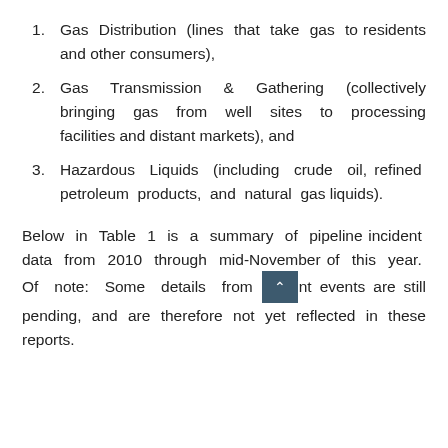Gas Distribution (lines that take gas to residents and other consumers),
Gas Transmission & Gathering (collectively bringing gas from well sites to processing facilities and distant markets), and
Hazardous Liquids (including crude oil, refined petroleum products, and natural gas liquids).
Below in Table 1 is a summary of pipeline incident data from 2010 through mid-November of this year. Of note: Some details from recent events are still pending, and are therefore not yet reflected in these reports.